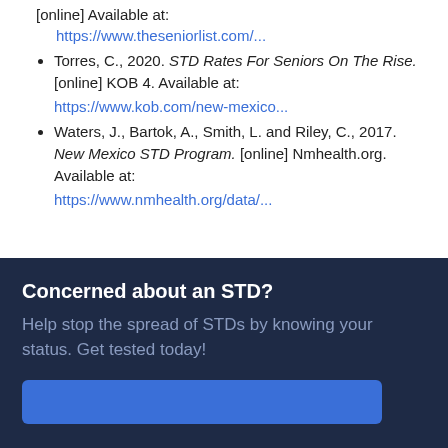[online] Available at: https://www.theseniorlist.com/...
Torres, C., 2020. STD Rates For Seniors On The Rise. [online] KOB 4. Available at: https://www.kob.com/new-mexico...
Waters, J., Bartok, A., Smith, L. and Riley, C., 2017. New Mexico STD Program. [online] Nmhealth.org. Available at: https://www.nmhealth.org/data/...
Concerned about an STD?
Help stop the spread of STDs by knowing your status. Get tested today!